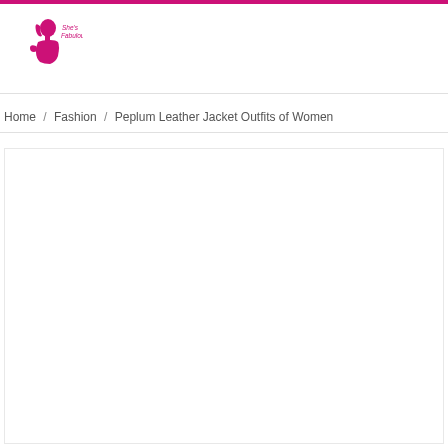[Figure (logo): A magenta/pink silhouette of a woman's profile face and torso with the text 'She's Fabulous' in magenta next to it]
Home / Fashion / Peplum Leather Jacket Outfits of Women